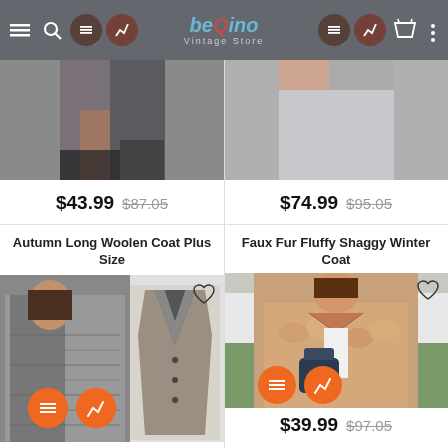beQino Vintage Store
$43.99  $87.05
$74.99  $95.05
Autumn Long Woolen Coat Plus Size
[Figure (photo): Woman wearing long woolen houndstooth coat outdoors, plus a flat-lay product shot of a dark woolen blazer coat]
Faux Fur Fluffy Shaggy Winter Coat
[Figure (photo): Woman wearing a beige faux fur fluffy shaggy winter coat, carrying a dark handbag]
$39.99  $97.05